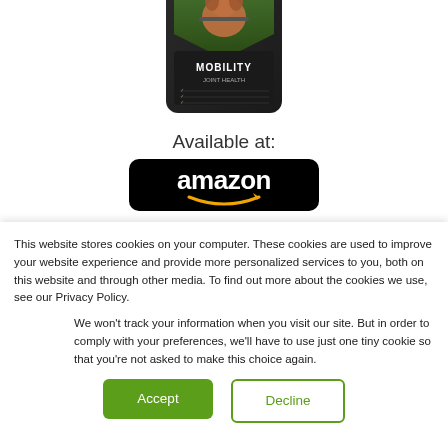[Figure (photo): Dog treat product bag labeled MOBILITY for joint health, dark bag with green accents, dog holding a stick in its mouth]
Available at:
[Figure (logo): Amazon logo - white text 'amazon' on black rounded rectangle background with orange arrow smile]
This website stores cookies on your computer. These cookies are used to improve your website experience and provide more personalized services to you, both on this website and through other media. To find out more about the cookies we use, see our Privacy Policy.
We won't track your information when you visit our site. But in order to comply with your preferences, we'll have to use just one tiny cookie so that you're not asked to make this choice again.
Accept
Decline